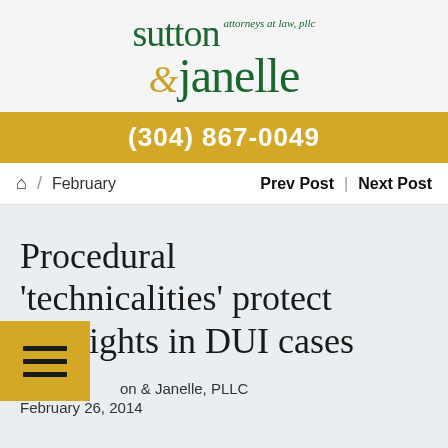[Figure (logo): Sutton & Janelle attorneys at law, pllc logo in dark green and gold]
(304) 867-0049
⌂ / February    Prev Post | Next Post
Procedural 'technicalities' protect our rights in DUI cases
Sutton & Janelle, PLLC
February 26, 2014